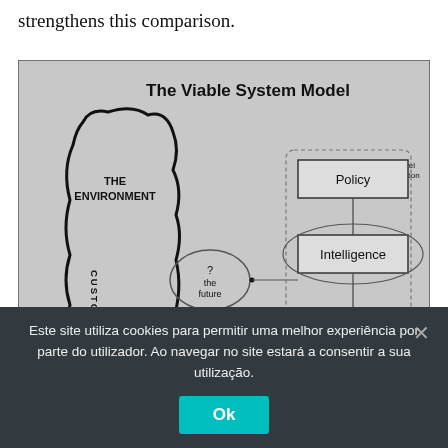strengthens this comparison.
[Figure (other): The Viable System Model diagram showing THE ENVIRONMENT on the left with CUSTOMERS label, a '? the future' bubble, and on the right a hierarchical system with boxes labeled Policy, Intelligence, Control, Monitoring, Co-ordination, and Meta-level organisation unit.]
Este site utiliza cookies para permitir uma melhor experiência por parte do utilizador. Ao navegar no site estará a consentir a sua utilização.